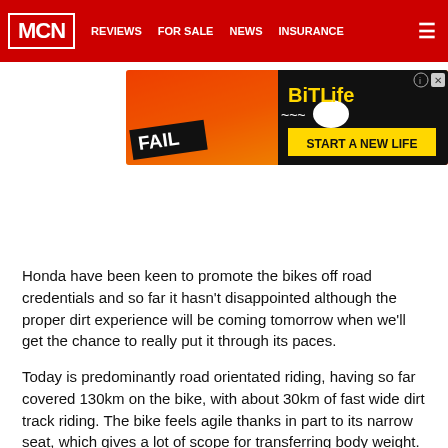MCN | REVIEWS | FOR SALE | NEWS | INSURANCE
[Figure (other): Advertisement banner for BitLife game showing 'FAIL' text with cartoon character and flames, with 'START A NEW LIFE' tagline on dark background]
Honda have been keen to promote the bikes off road credentials and so far it hasn't disappointed although the proper dirt experience will be coming tomorrow when we'll get the chance to really put it through its paces.
Today is predominantly road orientated riding, having so far covered 130km on the bike, with about 30km of fast wide dirt track riding. The bike feels agile thanks in part to its narrow seat, which gives a lot of scope for transferring body weight. The 21 inch front and 18 inch